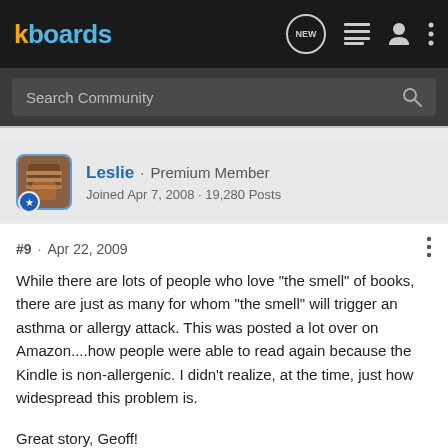kboards
Search Community
Leslie · Premium Member
Joined Apr 7, 2008 · 19,280 Posts
#9 · Apr 22, 2009
While there are lots of people who love "the smell" of books, there are just as many for whom "the smell" will trigger an asthma or allergy attack. This was posted a lot over on Amazon....how people were able to read again because the Kindle is non-allergenic. I didn't realize, at the time, just how widespread this problem is.

Great story, Geoff!